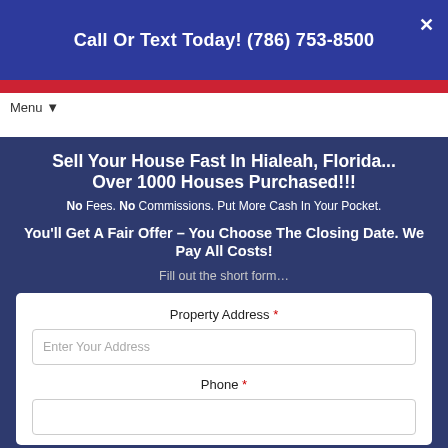Call Or Text Today! (786) 753-8500
Menu ▼
Sell Your House Fast In Hialeah, Florida... Over 1000 Houses Purchased!!!
No Fees. No Commissions. Put More Cash In Your Pocket.
You'll Get A Fair Offer – You Choose The Closing Date. We Pay All Costs!
Fill out the short form…
Property Address *
Enter Your Address
Phone *